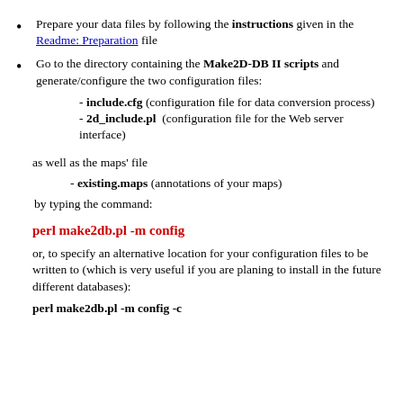Prepare your data files by following the instructions given in the Readme: Preparation file
Go to the directory containing the Make2D-DB II scripts and generate/configure the two configuration files:
- include.cfg (configuration file for data conversion process)
- 2d_include.pl (configuration file for the Web server interface)
as well as the maps' file
- existing.maps (annotations of your maps)
by typing the command:
perl make2db.pl -m config
or, to specify an alternative location for your configuration files to be written to (which is very useful if you are planing to install in the future different databases):
perl make2db.pl -m config -c